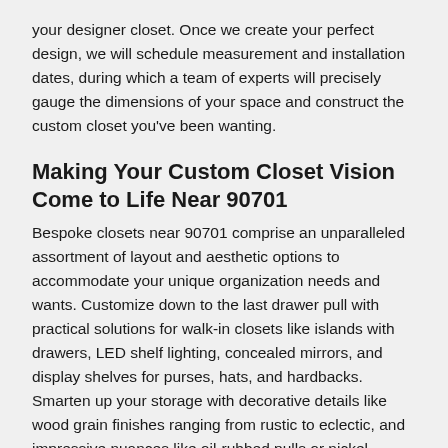your designer closet. Once we create your perfect design, we will schedule measurement and installation dates, during which a team of experts will precisely gauge the dimensions of your space and construct the custom closet you've been wanting.
Making Your Custom Closet Vision Come to Life Near 90701
Bespoke closets near 90701 comprise an unparalleled assortment of layout and aesthetic options to accommodate your unique organization needs and wants. Customize down to the last drawer pull with practical solutions for walk-in closets like islands with drawers, LED shelf lighting, concealed mirrors, and display shelves for purses, hats, and hardbacks. Smarten up your storage with decorative details like wood grain finishes ranging from rustic to eclectic, and impressive nuances like oil-rubbed pulls or nickel handles. Take your space to the next level by heading to The Container Store near you or meeting with a custom closet expert in Cerritos, CA. Your custom closet awaits.